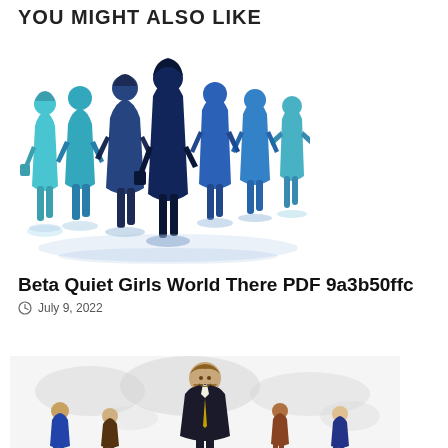YOU MIGHT ALSO LIKE
[Figure (illustration): Silhouettes of business people (men and women) standing in a group, rendered in blue gradient tones with reflections below]
Beta Quiet Girls World There PDF 9a3b50ffc
July 9, 2022
[Figure (photo): Photo of a smiling businessman in suit standing in front of a world map with diverse group of people around him]